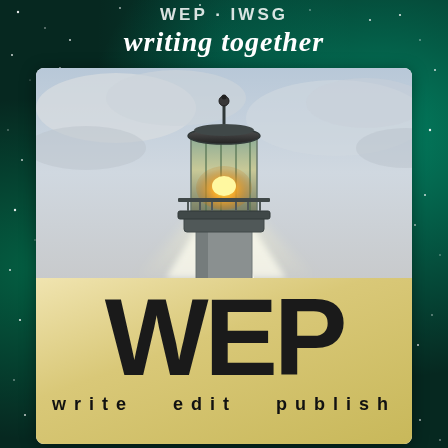WEP IWSG writing together
[Figure (illustration): Illustrated lighthouse top with glowing light/lantern room emitting bright rays against cloudy sky, painted/watercolor style]
WEP
write  edit  publish